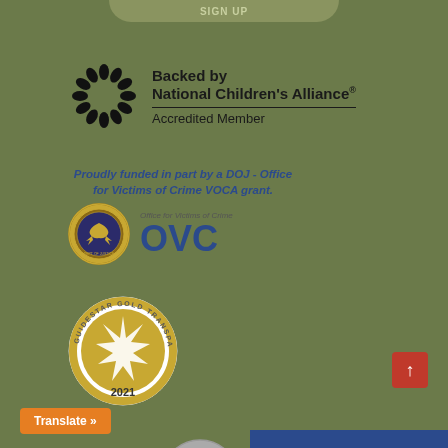[Figure (logo): SIGN UP button at top of page, partially visible]
[Figure (logo): National Children's Alliance accredited member logo with hand silhouettes in a circle and text: Backed by National Children's Alliance Accredited Member]
Proudly funded in part by a DOJ - Office for Victims of Crime VOCA grant.
[Figure (logo): Department of Justice seal (eagle emblem) alongside OVC (Office for Victims of Crime) logo]
[Figure (logo): GuideStar Gold Transparency 2021 seal - circular gold badge with star burst design]
[Figure (logo): Back to top arrow button (red/orange square with up arrow)]
[Figure (logo): Translate button (orange) and partial SEA logo at bottom]